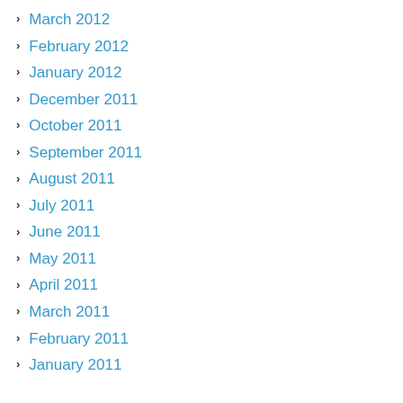March 2012
February 2012
January 2012
December 2011
October 2011
September 2011
August 2011
July 2011
June 2011
May 2011
April 2011
March 2011
February 2011
January 2011